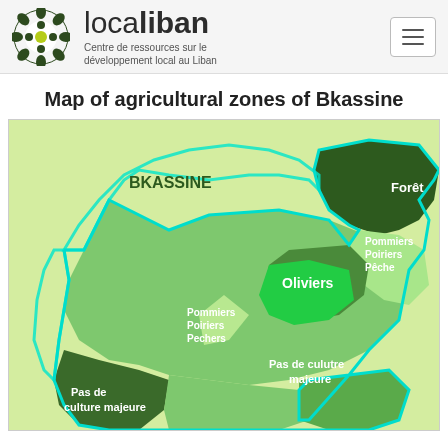localiban — Centre de ressources sur le développement local au Liban
Map of agricultural zones of Bkassine
[Figure (map): Map of agricultural zones of Bkassine showing different colored regions: Forêt (dark green), Pommiers Poiriers Pêche (light green, upper right), Oliviers (bright green, center-right), Pommiers Poiriers Pechers (light green diamond, center-left), Pas de culutre majeure (medium green, center-bottom), Pas de culture majeure (dark green, lower left). Label BKASSINE in bold green upper left of map.]